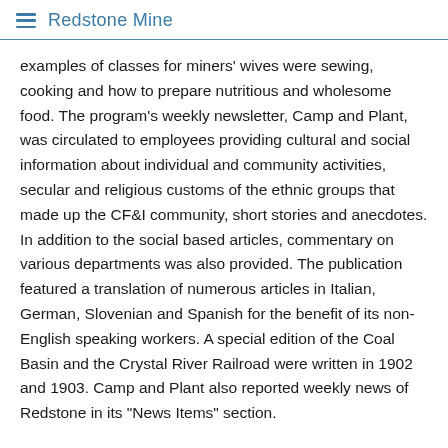Redstone Mine
examples of classes for miners' wives were sewing, cooking and how to prepare nutritious and wholesome food. The program's weekly newsletter, Camp and Plant, was circulated to employees providing cultural and social information about individual and community activities, secular and religious customs of the ethnic groups that made up the CF&I community, short stories and anecdotes. In addition to the social based articles, commentary on various departments was also provided. The publication featured a translation of numerous articles in Italian, German, Slovenian and Spanish for the benefit of its non-English speaking workers. A special edition of the Coal Basin and the Crystal River Railroad were written in 1902 and 1903. Camp and Plant also reported weekly news of Redstone in its "News Items" section.
For other entertainment needs, recreational halls and club